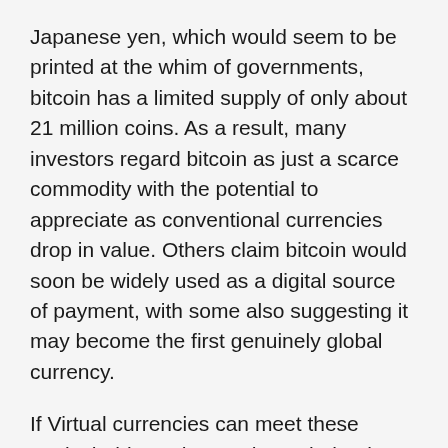Japanese yen, which would seem to be printed at the whim of governments, bitcoin has a limited supply of only about 21 million coins. As a result, many investors regard bitcoin as just a scarce commodity with the potential to appreciate as conventional currencies drop in value. Others claim bitcoin would soon be widely used as a digital source of payment, with some also suggesting it may become the first genuinely global currency.
If Virtual currencies can meet these goals, holders who purchase their tokens now will most definitely be richly compensated in the years to come. However, there is a slew of other ventures competing for attention alongside these cryptocurrency giants, and their progress is far from guaranteed.
Are There Other Investments That Are More Profitable Than A Digital Currency?